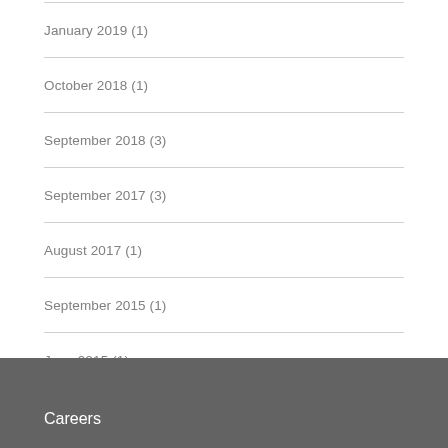January 2019 (1)
October 2018 (1)
September 2018 (3)
September 2017 (3)
August 2017 (1)
September 2015 (1)
June 2015 (1)
March 2015 (1)
Careers